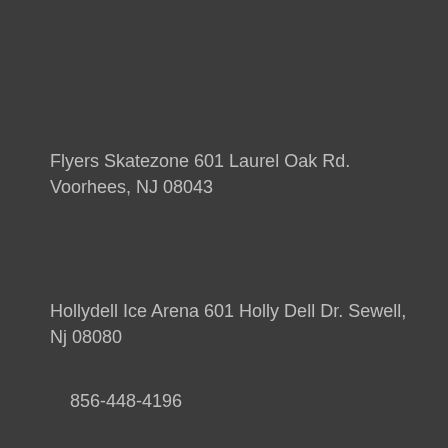Flyers Skatezone 601 Laurel Oak Rd. Voorhees, NJ 08043
Hollydell Ice Arena 601 Holly Dell Dr. Sewell, Nj 08080
856-448-4196